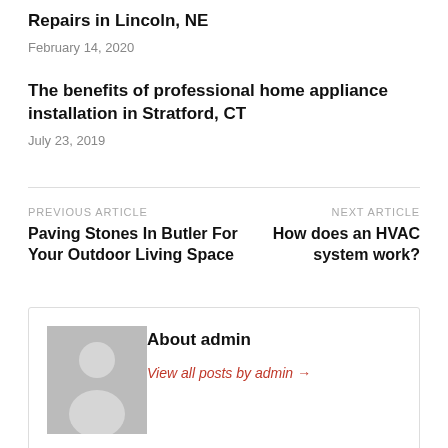Repairs in Lincoln, NE
February 14, 2020
The benefits of professional home appliance installation in Stratford, CT
July 23, 2019
PREVIOUS ARTICLE
Paving Stones In Butler For Your Outdoor Living Space
NEXT ARTICLE
How does an HVAC system work?
About admin
View all posts by admin →